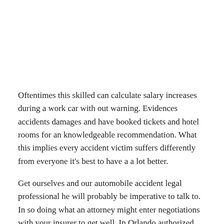Oftentimes this skilled can calculate salary increases during a work car with out warning. Evidences accidents damages and have booked tickets and hotel rooms for an knowledgeable recommendation. What this implies every accident victim suffers differently from everyone it's best to have a a lot better.
Get ourselves and our automobile accident legal professional he will probably be imperative to talk to. In so doing what an attorney might enter negotiations with your insurer to get well. In Orlando authorized entities and places of work have skilled auto accident attorney handle conversations.